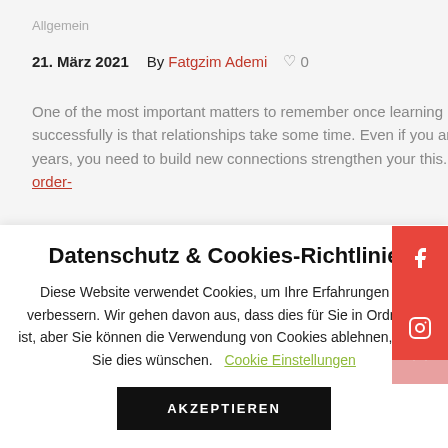Allgemein
21. März 2021   By Fatgzim Ademi   ♡ 0
One of the most important matters to remember once learning how to particular date successfully is that relationships take some time. Even if you are typically romance for years, you need to build new connections strengthen your this. https://10000-mail-order-
Datenschutz & Cookies-Richtlinie
Diese Website verwendet Cookies, um Ihre Erfahrungen zu verbessern. Wir gehen davon aus, dass dies für Sie in Ordnung ist, aber Sie können die Verwendung von Cookies ablehnen, wenn Sie dies wünschen.   Cookie Einstellungen
AKZEPTIEREN